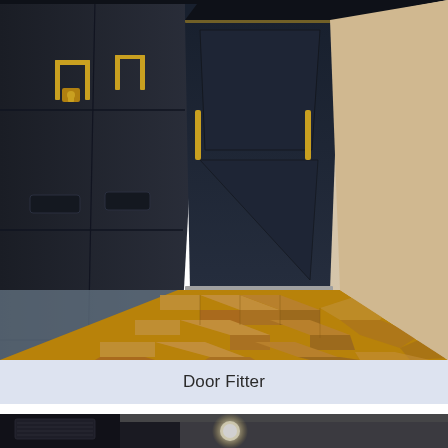[Figure (photo): Interior hallway/entrance with dark navy fitted wardrobes on the left with gold/brass handles, a dark navy front door straight ahead with gold fittings and lock, herringbone patterned light oak wooden flooring, and a light textured wall on the right side.]
Door Fitter
[Figure (photo): Partial view of an interior room with a dark ceiling/wall area visible and a bright downlight recessed into the ceiling, partially cropped at bottom of page.]